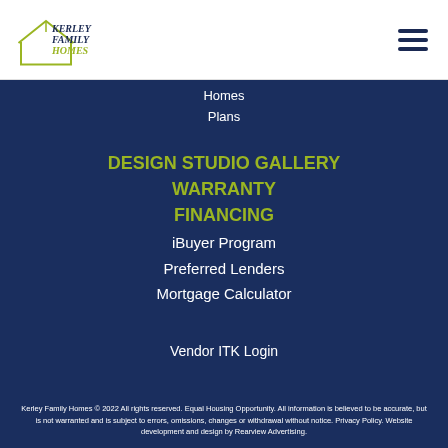[Figure (logo): Kerley Family Homes logo with house outline and script text]
Homes
Plans
DESIGN STUDIO GALLERY
WARRANTY
FINANCING
iBuyer Program
Preferred Lenders
Mortgage Calculator
Vendor ITK Login
Kerley Family Homes © 2022 All rights reserved. Equal Housing Opportunity. All information is believed to be accurate, but is not warranted and is subject to errors, omissions, changes or withdrawal without notice. Privacy Policy. Website development and design by Rearview Advertising.